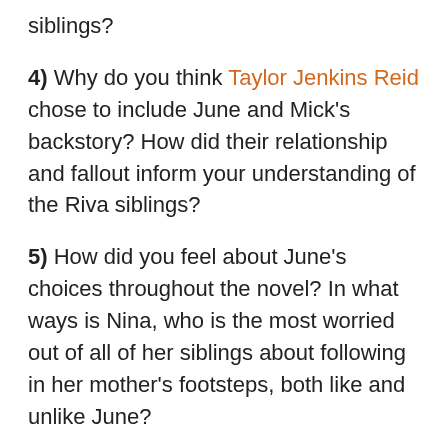siblings?
4) Why do you think Taylor Jenkins Reid chose to include June and Mick’s backstory? How did their relationship and fallout inform your understanding of the Riva siblings?
5) How did you feel about June’s choices throughout the novel? In what ways is Nina, who is the most worried out of all of her siblings about following in her mother’s footsteps, both like and unlike June?
6) Malibu Rising is very much about the tenacity and complicity of sibling bonds,